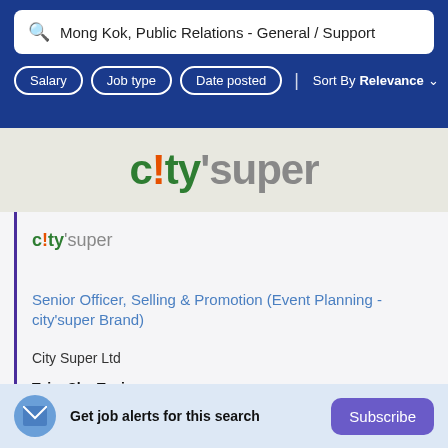Mong Kok, Public Relations - General / Support
Salary | Job type | Date posted | Sort By Relevance
[Figure (logo): city'super brand logo banner on light wood background]
[Figure (logo): city'super small logo]
Senior Officer, Selling & Promotion (Event Planning - city'super Brand)
City Super Ltd
Tsim Sha Tsui
Plan, organize and implement food & wine
Get job alerts for this search